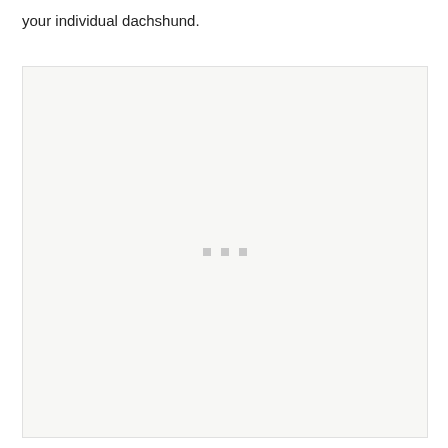your individual dachshund.
[Figure (photo): A large light gray placeholder/loading box with three small gray dots centered near the middle, indicating an image is loading or not yet available.]